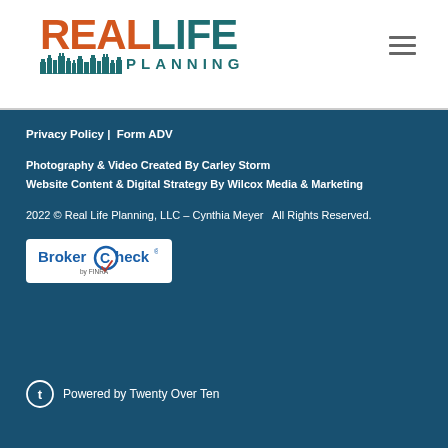[Figure (logo): Real Life Planning logo with orange REAL and teal LIFE text, skyline graphic, and PLANNING in teal below]
Privacy Policy | Form ADV

Photography & Video Created By Carley Storm
Website Content & Digital Strategy By Wilcox Media & Marketing

2022 © Real Life Planning, LLC – Cynthia Meyer  All Rights Reserved.

BrokerCheck by FINRA

Powered by Twenty Over Ten